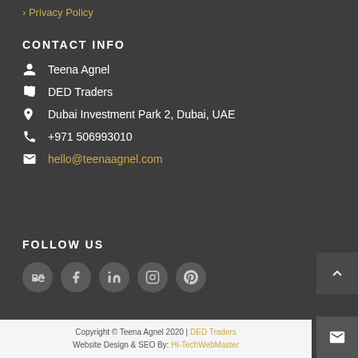› Privacy Policy
CONTACT INFO
Teena Agnel
DED Traders
Dubai Investment Park 2, Dubai, UAE
+971 506993010
hello@teenaagnel.com
FOLLOW US
[Figure (infographic): Social media icons: Behance, Facebook, LinkedIn, Instagram, Pinterest]
Copyright © Teena Agnel 2020 | DED Traders
Website Design & SEO By: Hi-TechWebMaster